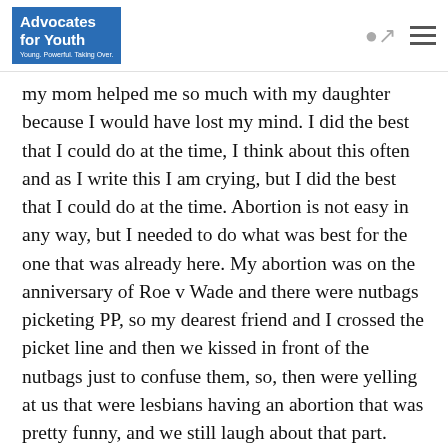Advocates for Youth — Young. Powerful. Taking Over.
my mom helped me so much with my daughter because I would have lost my mind. I did the best that I could do at the time, I think about this often and as I write this I am crying, but I did the best that I could do at the time. Abortion is not easy in any way, but I needed to do what was best for the one that was already here. My abortion was on the anniversary of Roe v Wade and there were nutbags picketing PP, so my dearest friend and I crossed the picket line and then we kissed in front of the nutbags just to confuse them, so, then were yelling at us that were lesbians having an abortion that was pretty funny, and we still laugh about that part.